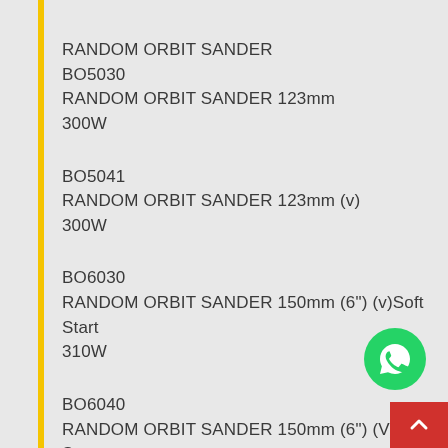RANDOM ORBIT SANDER
BO5030
RANDOM ORBIT SANDER 123mm
300W
BO5041
RANDOM ORBIT SANDER 123mm (v)
300W
BO6030
RANDOM ORBIT SANDER 150mm (6") (v)Soft Start
310W
BO6040
RANDOM ORBIT SANDER 150mm (6") (V) Soft Start